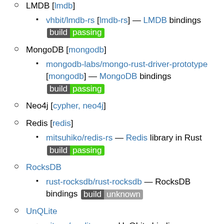LMDB [lmdb]
vhbit/lmdb-rs [lmdb-rs] — LMDB bindings [build passing]
MongoDB [mongodb]
mongodb-labs/mongo-rust-driver-prototype [mongodb] — MongoDB bindings [build passing]
Neo4j [cypher, neo4j]
Redis [redis]
mitsuhiko/redis-rs — Redis library in Rust [build passing]
RocksDB
rust-rocksdb/rust-rocksdb — RocksDB bindings [build unknown]
UnQLite
zitsen/unqlite.rs — UnQLite bindings [build passing]